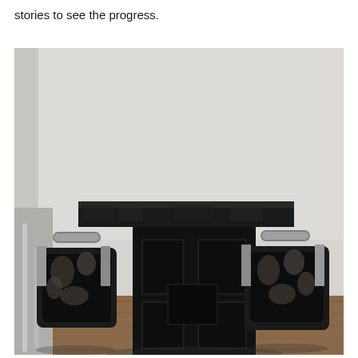stories to see the progress.
[Figure (photo): A dark/black dining table with geometric paneled base, surrounded by ornate crushed velvet chairs with metallic frames, set in a room with light gray walls and dark wood floor.]